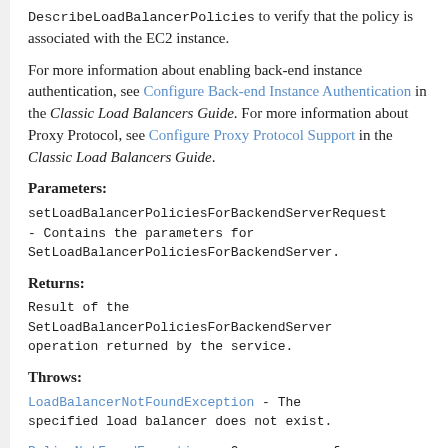DescribeLoadBalancerPolicies to verify that the policy is associated with the EC2 instance.
For more information about enabling back-end instance authentication, see Configure Back-end Instance Authentication in the Classic Load Balancers Guide. For more information about Proxy Protocol, see Configure Proxy Protocol Support in the Classic Load Balancers Guide.
Parameters:
setLoadBalancerPoliciesForBackendServerRequest - Contains the parameters for SetLoadBalancerPoliciesForBackendServer.
Returns:
Result of the SetLoadBalancerPoliciesForBackendServer operation returned by the service.
Throws:
LoadBalancerNotFoundException - The specified load balancer does not exist.
PolicyNotFoundException - One or more of the specified policies do not exist.